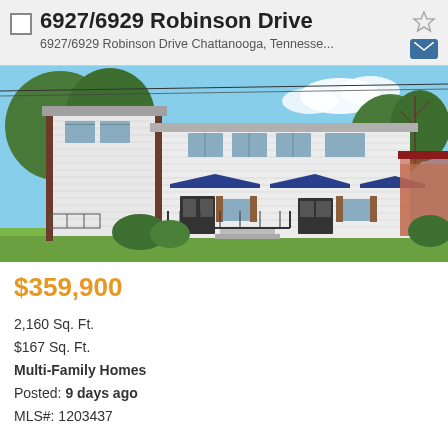6927/6929 Robinson Drive
6927/6929 Robinson Drive Chattanooga, Tennesse...
[Figure (photo): Exterior photo of a two-story white vinyl siding duplex/multi-family home with dark blue awnings over the entrances, a front porch with black metal railing, brown trim accents, and green trees in the background under a blue sky.]
$359,900
2,160 Sq. Ft.
$167 Sq. Ft.
Multi-Family Homes
Posted: 9 days ago
MLS#: 1203437